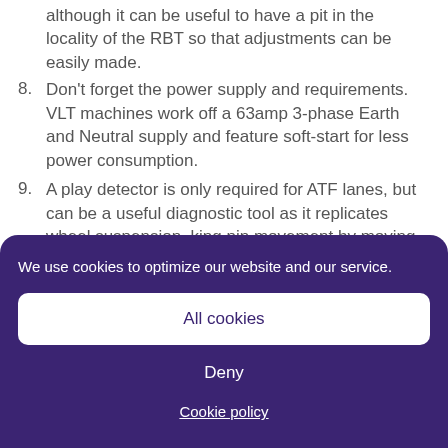although it can be useful to have a pit in the locality of the RBT so that adjustments can be easily made.
8. Don't forget the power supply and requirements. VLT machines work off a 63amp 3-phase Earth and Neutral supply and feature soft-start for less power consumption.
9. A play detector is only required for ATF lanes, but can be a useful diagnostic tool as it replicates wheel suspension, king pin movement by moving the wheel/tyre in different directions to show excessive movement.
We use cookies to optimize our website and our service.
All cookies
Deny
Cookie policy